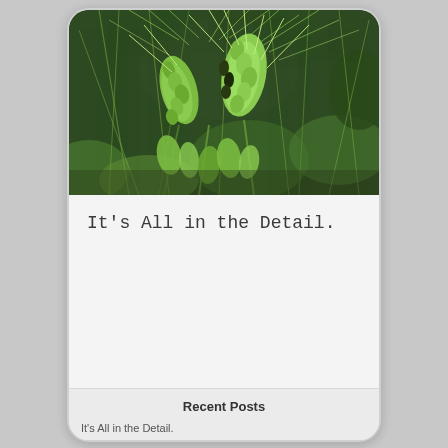[Figure (photo): Close-up photograph of green wheat or barley grain stalks with long bristles/awns, showing detailed texture of the grain heads against a blurred green background.]
It's All in the Detail.
Recent Posts
It's All in the Detail.